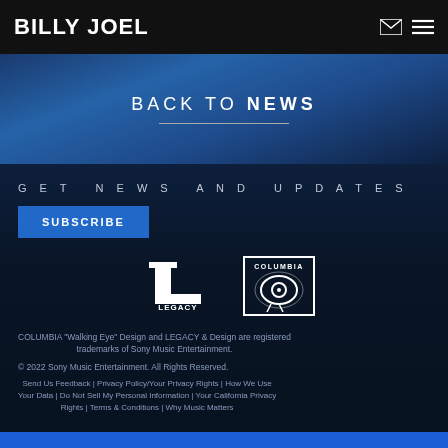BILLY JOEL
BACK TO NEWS
GET NEWS AND UPDATES
SUBSCRIBE
[Figure (logo): Legacy Records logo — large white L with LEGACY text below]
[Figure (logo): Columbia Walking Eye logo in white box with COLUMBIA text]
COLUMBIA "Walking Eye" Design and LEGACY & Design are registered trademarks of Sony Music Entertainment.
© 2022 Sony Music Entertainment. All Rights Reserved.
Send Us Feedback | Privacy Policy/Your Privacy Rights | How We Use Your Data | Do Not Sell My Personal Information | Your California Privacy Rights | Terms & Conditions | Why Music Matters